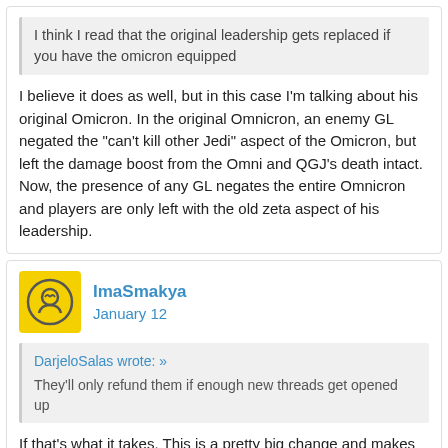I think I read that the original leadership gets replaced if you have the omicron equipped
I believe it does as well, but in this case I'm talking about his original Omicron. In the original Omnicron, an enemy GL negated the "can't kill other Jedi" aspect of the Omicron, but left the damage boost from the Omni and QGJ's death intact. Now, the presence of any GL negates the entire Omnicron and players are only left with the old zeta aspect of his leadership.
ImaSmakya
January 12
DarjeloSalas wrote: » They'll only refund them if enough new threads get opened up
If that's what it takes. This is a pretty big change and makes the omi considerably less valuable.